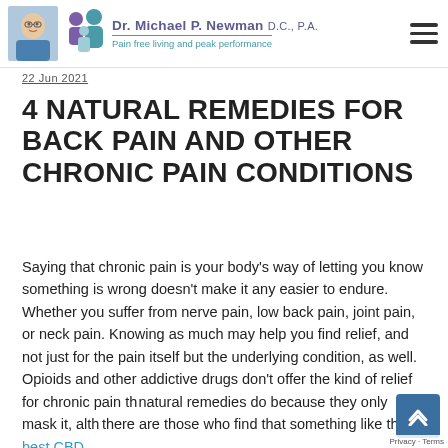Dr. Michael P. Newman D.C., P.A. — Pain free living and peak performance
22 Jun 2021
4 NATURAL REMEDIES FOR BACK PAIN AND OTHER CHRONIC PAIN CONDITIONS
Saying that chronic pain is your body's way of letting you know something is wrong doesn't make it any easier to endure. Whether you suffer from nerve pain, low back pain, joint pain, or neck pain. Knowing as much may help you find relief, and not just for the pain itself but the underlying condition, as well. Opioids and other addictive drugs don't offer the kind of relief for chronic pain that natural remedies do because they only mask it, although there are those who find that something like the best CBD